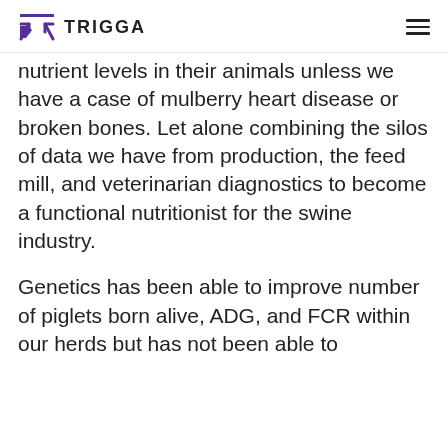TRIGGA
nutrient levels in their animals unless we have a case of mulberry heart disease or broken bones. Let alone combining the silos of data we have from production, the feed mill, and veterinarian diagnostics to become a functional nutritionist for the swine industry.
Genetics has been able to improve number of piglets born alive, ADG, and FCR within our herds but has not been able to